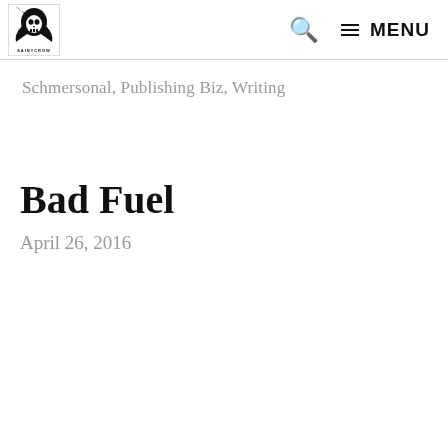SAINTCROW [logo] [search] MENU
Schmersonal, Publishing Biz, Writing
Bad Fuel
April 26, 2016